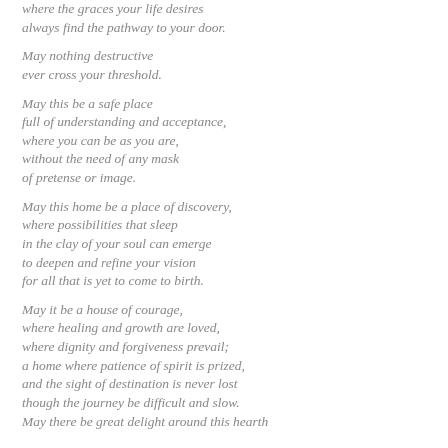where the graces your life desires
always find the pathway to your door.

May nothing destructive
ever cross your threshold.

May this be a safe place
full of understanding and acceptance,
where you can be as you are,
without the need of any mask
of pretense or image.

May this home be a place of discovery,
where possibilities that sleep
in the clay of your soul can emerge
to deepen and refine your vision
for all that is yet to come to birth.

May it be a house of courage,
where healing and growth are loved,
where dignity and forgiveness prevail;
a home where patience of spirit is prized,
and the sight of destination is never lost
though the journey be difficult and slow.
May there be great delight around this hearth